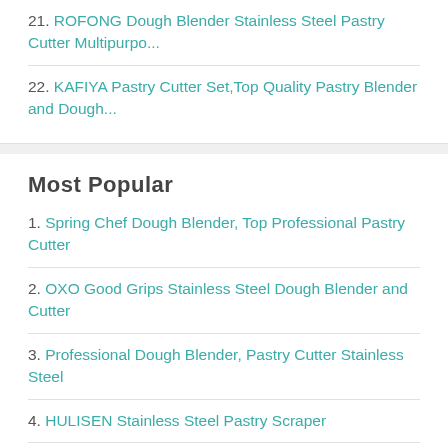21. ROFONG Dough Blender Stainless Steel Pastry Cutter Multipurpo...
22. KAFIYA Pastry Cutter Set,Top Quality Pastry Blender and Dough...
Most Popular
1. Spring Chef Dough Blender, Top Professional Pastry Cutter
2. OXO Good Grips Stainless Steel Dough Blender and Cutter
3. Professional Dough Blender, Pastry Cutter Stainless Steel
4. HULISEN Stainless Steel Pastry Scraper
5. Premium Multi-purpose Stainless Steel Bench Scraper & Chopper
6. Pastry Cutter Set, EAGMAK Pastry Blender and Dough Scraper...